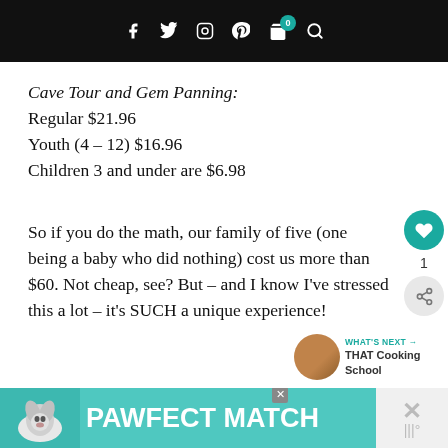Navigation bar with social icons: f, twitter, instagram, pinterest, cart (0), search
Cave Tour and Gem Panning: Regular $21.96
Youth (4 – 12) $16.96
Children 3 and under are $6.98
So if you do the math, our family of five (one being a baby who did nothing) cost us more than $60. Not cheap, see? But – and I know I've stressed this a lot – it's SUCH a unique experience!
PAWFECT MATCH advertisement